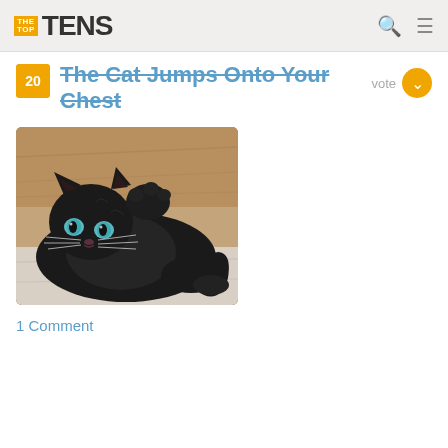THE TOP TENS
The Cat Jumps Onto Your Chest
[Figure (photo): A black cat lying on its back on a wooden floor, looking upward toward the camera with bright blue-green eyes, one paw raised near its face, with white/grey whiskers visible.]
1 Comment